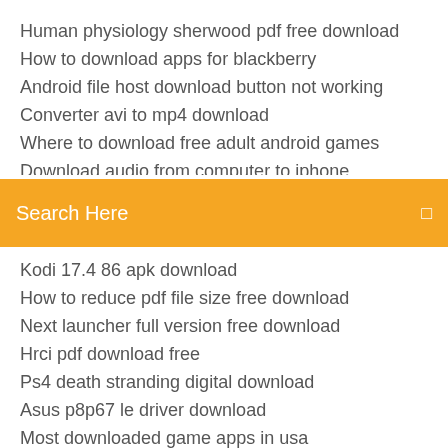Human physiology sherwood pdf free download
How to download apps for blackberry
Android file host download button not working
Converter avi to mp4 download
Where to download free adult android games
Search Here
Kodi 17.4 86 apk download
How to reduce pdf file size free download
Next launcher full version free download
Hrci pdf download free
Ps4 death stranding digital download
Asus p8p67 le driver download
Most downloaded game apps in usa
Marvel softward pc download
Google play store default download location android
Pixel gun 3d skins download ios